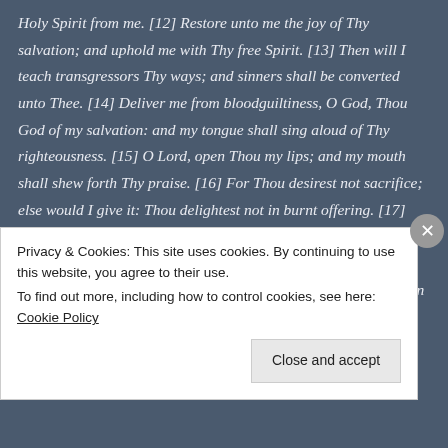Holy Spirit from me. [12] Restore unto me the joy of Thy salvation; and uphold me with Thy free Spirit. [13] Then will I teach transgressors Thy ways; and sinners shall be converted unto Thee. [14] Deliver me from bloodguiltiness, O God, Thou God of my salvation: and my tongue shall sing aloud of Thy righteousness. [15] O Lord, open Thou my lips; and my mouth shall shew forth Thy praise. [16] For Thou desirest not sacrifice; else would I give it: Thou delightest not in burnt offering. [17] The sacrifices of God are a broken spirit: a broken and a contrite heart, O God, Thou wilt not despise. [18] Do good in Thy good pleasure unto Zion: build Thou the walls of Jerusalem. [19] Then shalt Thou be pleased with the
Privacy & Cookies: This site uses cookies. By continuing to use this website, you agree to their use.
To find out more, including how to control cookies, see here: Cookie Policy
Close and accept